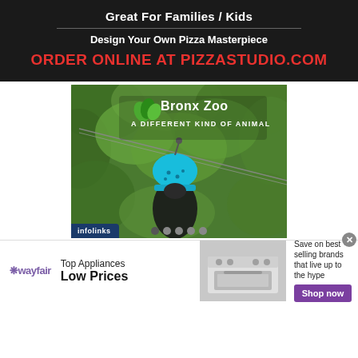[Figure (infographic): Pizza Studio advertisement banner on dark background. Text: 'Great For Families / Kids', horizontal divider, 'Design Your Own Pizza Masterpiece', 'ORDER ONLINE AT PIZZASTUDIO.COM' in red.]
[Figure (photo): Bronx Zoo advertisement showing a person wearing a blue helmet on a zip line in a lush green forest. Bronx Zoo logo and tagline 'A DIFFERENT KIND OF ANIMAL' overlay the image. Infolinks badge in bottom left.]
[Figure (infographic): Wayfair advertisement banner. Wayfair logo on left, text 'Top Appliances Low Prices', center image of a kitchen range/stove appliance, right side text 'Save on best selling brands that live up to the hype' with purple 'Shop now' button. Close (x) button in top right corner.]